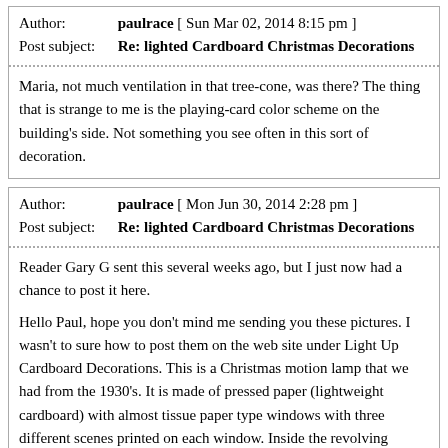Author: paulrace [ Sun Mar 02, 2014 8:15 pm ]
Post subject: Re: lighted Cardboard Christmas Decorations
Maria, not much ventilation in that tree-cone, was there? The thing that is strange to me is the playing-card color scheme on the building's side. Not something you see often in this sort of decoration.
Author: paulrace [ Mon Jun 30, 2014 2:28 pm ]
Post subject: Re: lighted Cardboard Christmas Decorations
Reader Gary G sent this several weeks ago, but I just now had a chance to post it here.
Hello Paul, hope you don't mind me sending you these pictures. I wasn't to sure how to post them on the web site under Light Up Cardboard Decorations. This is a Christmas motion lamp that we had from the 1930's. It is made of pressed paper (lightweight cardboard) with almost tissue paper type windows with three different scenes printed on each window. Inside the revolving cylinder shows Merry Christmas thru the windows, or Happy New